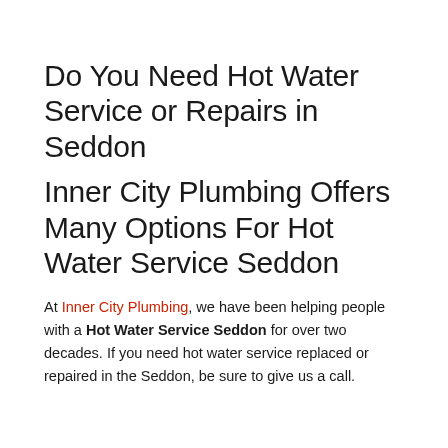Do You Need Hot Water Service or Repairs in Seddon
Inner City Plumbing Offers Many Options For Hot Water Service Seddon
At Inner City Plumbing, we have been helping people with a Hot Water Service Seddon for over two decades. If you need hot water service replaced or repaired in the Seddon, be sure to give us a call.